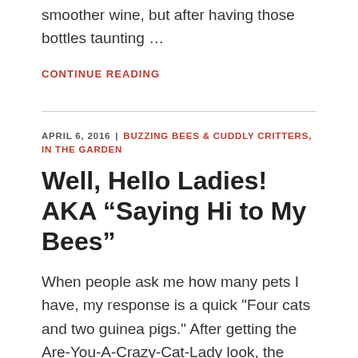smoother wine, but after having those bottles taunting …
CONTINUE READING
APRIL 6, 2016 | BUZZING BEES & CUDDLY CRITTERS, IN THE GARDEN
Well, Hello Ladies! AKA “Saying Hi to My Bees”
When people ask me how many pets I have, my response is a quick "Four cats and two guinea pigs." After getting the Are-You-A-Crazy-Cat-Lady look, the conversation